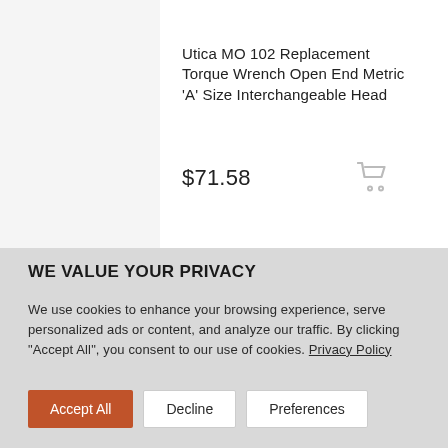Utica MO 102 Replacement Torque Wrench Open End Metric ‘A’ Size Interchangeable Head
$71.58
WE VALUE YOUR PRIVACY
We use cookies to enhance your browsing experience, serve personalized ads or content, and analyze our traffic. By clicking "Accept All", you consent to our use of cookies. Privacy Policy
Accept All  Decline  Preferences